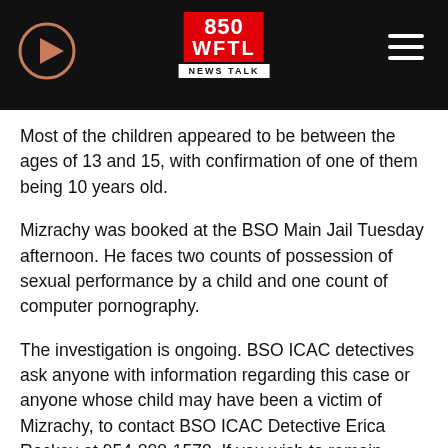850 WFTL NEWS TALK
Most of the children appeared to be between the ages of 13 and 15, with confirmation of one of them being 10 years old.
Mizrachy was booked at the BSO Main Jail Tuesday afternoon. He faces two counts of possession of sexual performance by a child and one count of computer pornography.
The investigation is ongoing. BSO ICAC detectives ask anyone with information regarding this case or anyone whose child may have been a victim of Mizrachy, to contact BSO ICAC Detective Erica Rockey at 954-888-1570. If you wish to remain anonymous, contact Broward Crime Stoppers at 954-493-TIPS (8477) or online at